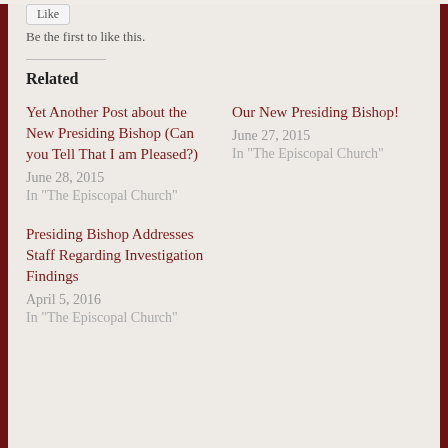Be the first to like this.
Related
Yet Another Post about the New Presiding Bishop (Can you Tell That I am Pleased?)
June 28, 2015
In "The Episcopal Church"
Our New Presiding Bishop!
June 27, 2015
In "The Episcopal Church"
Presiding Bishop Addresses Staff Regarding Investigation Findings
April 5, 2016
In "The Episcopal Church"